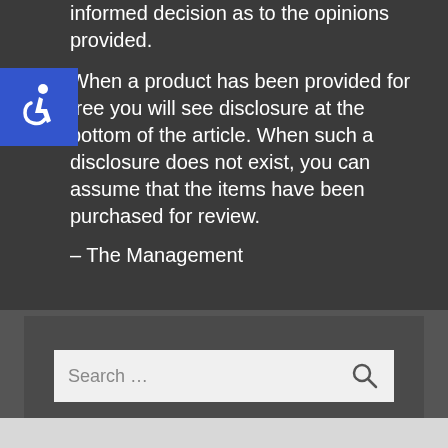informed decision as to the opinions provided.
When a product has been provided for free you will see disclosure at the bottom of the article. When such a disclosure does not exist, you can assume that the items have been purchased for review.
– The Management
[Figure (other): Blue accessibility icon (wheelchair symbol) in a blue square]
Search …